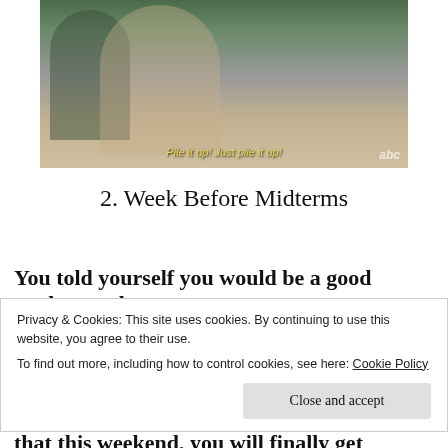[Figure (photo): A blonde woman looking down and eating or holding food, with subtitle text 'Pile it up! Just pile it up!' and ABC network logo in corner.]
2. Week Before Midterms
You told yourself you would be a good student and
Privacy & Cookies: This site uses cookies. By continuing to use this website, you agree to their use.
To find out more, including how to control cookies, see here: Cookie Policy
Close and accept
that this weekend, you will finally get started on